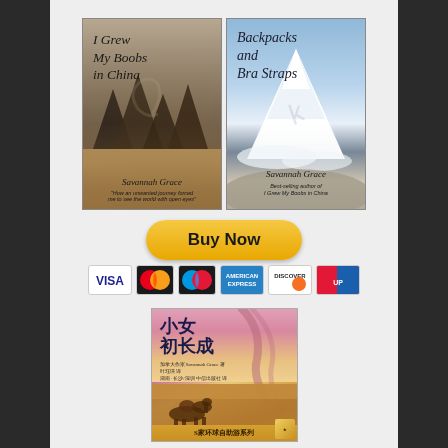[Figure (illustration): Book cover: 'I Grew My Boobs in China' by Savannah Grace, with landscape background of karst mountains and water]
[Figure (illustration): Book cover: 'Backpacks and Bra Straps' by Savannah Grace, with snowy mountain background]
[Figure (illustration): Buy Now button with golden/yellow color]
[Figure (illustration): Payment method icons: VISA, Mastercard, Maestro, American Express, Discover, UnionPay]
[Figure (illustration): Chinese book cover: 小女初长成 (Chinese translation of the memoir), with desert/camel scene, banner text: S家环球自助游系列]